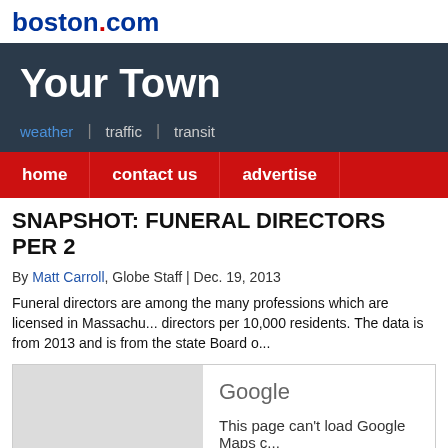boston.com
Your Town
weather | traffic | transit
home | contact us | advertise
SNAPSHOT: FUNERAL DIRECTORS PER 2
By Matt Carroll, Globe Staff | Dec. 19, 2013
Funeral directors are among the many professions which are licensed in Massachusetts. We mapped funeral directors per 10,000 residents. The data is from 2013 and is from the state Board of
[Figure (screenshot): Google Maps error: 'This page can't load Google Maps correctly. Do you own this website?']